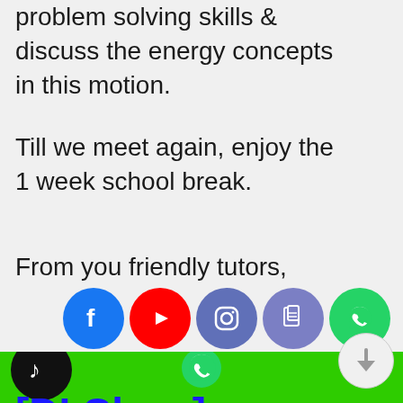problem solving skills & discuss the energy concepts in this motion.
Till we meet again, enjoy the 1 week school break.
From you friendly tutors,
Mr Sim & Mr Kwok 🙂
[J1 Maths [DI Class]
[Figure (other): Social media icons bar: Facebook, YouTube, Instagram, Telegram, WhatsApp circles]
[Figure (other): Bottom green bar with TikTok circle icon on left and WhatsApp icon in center]